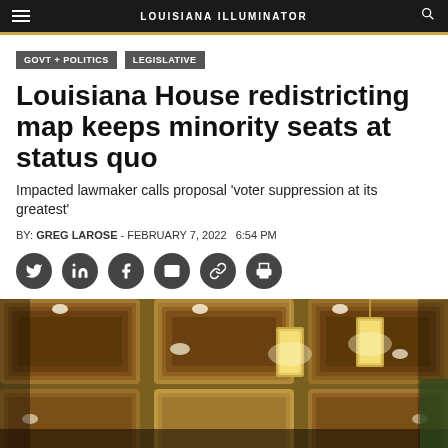LOUISIANA ILLUMINATOR
GOVT + POLITICS
LEGISLATIVE
Louisiana House redistricting map keeps minority seats at status quo
Impacted lawmaker calls proposal 'voter suppression at its greatest'
BY: GREG LAROSE - FEBRUARY 7, 2022  6:54 PM
[Figure (photo): Interior of Louisiana State Capitol building showing ornate coffered ceiling with recessed lighting and decorative pendant light fixtures hanging from above]
[Figure (infographic): Social media sharing icons: Twitter, LinkedIn, Facebook, Email, Link, Print]